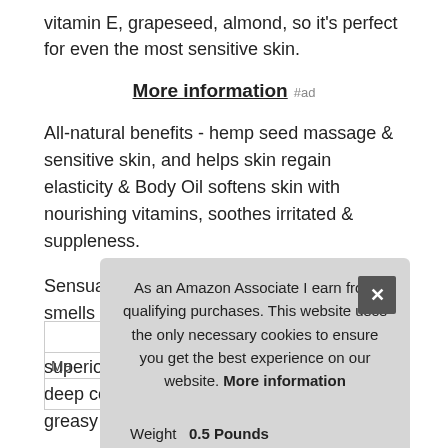vitamin E, grapeseed, almond, so it's perfect for even the most sensitive skin.
More information #ad
All-natural benefits - hemp seed massage & sensitive skin, and helps skin regain elasticity & Body Oil softens skin with nourishing vitamins, soothes irritated & suppleness.
Sensual scents - the nag champa scent smells like East Indian incense. No greasy residue - this nutrient-rich formula provides superior slip, but absorbs into the skin for deep conditioning and moisturizing without a greasy residue.
As an Amazon Associate I earn from qualifying purchases. This website uses the only necessary cookies to ensure you get the best experience on our website. More information
| Ma |
| Weight | 0.5 Pounds |